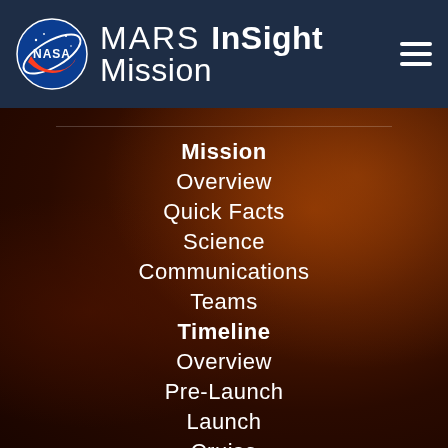MARS InSight Mission
Mission
Overview
Quick Facts
Science
Communications
Teams
Timeline
Overview
Pre-Launch
Launch
Cruise
Approach
Landing